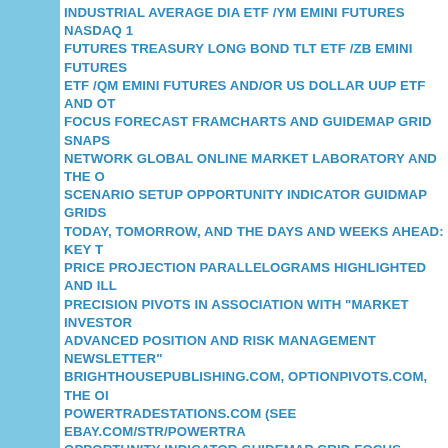INDUSTRIAL AVERAGE DIA ETF /YM EMINI FUTURES NASDAQ 1 FUTURES TREASURY LONG BOND TLT ETF /ZB EMINI FUTURES ETF /QM EMINI FUTURES AND/OR US DOLLAR UUP ETF AND OT FOCUS FORECAST FRAMCHARTS AND GUIDEMAP GRID SNAPS NETWORK GLOBAL ONLINE MARKET LABORATORY AND THE O SCENARIO SETUP OPPORTUNITY INDICATOR GUIDMAP GRIDS TODAY, TOMORROW, AND THE DAYS AND WEEKS AHEAD: KEY T PRICE PROJECTION PARALLELOGRAMS HIGHLIGHTED AND ILL PRECISION PIVOTS IN ASSOCIATION WITH "MARKET INVESTOR ADVANCED POSITION AND RISK MANAGEMENT NEWSLETTER" BRIGHTHOUSEPUBLISHING.COM, OPTIONPIVOTS.COM, THE OI POWERTRADESTATIONS.COM (SEE EBAY.COM/STR/POWERTRA OPPORTUNITY INDICATOR GUIDEMAP GRID FOCUS FORECAST NARRATIVES: POWERFUL FORECASTS RIGHT ON TARGET: INC EDGE EASYGUIDECHART SANPSHOT UPDATES: FOCUSING ON OPTIONPIVOTSLIVE ECHOVECTOR TECHNICAL ANALYSIS ASSO FORECAST FRAMECHARTS AND SCENARIO SETUP OPPORTUN ECHOVECTOR ANALYSIS GLOBAL MARKET LABORATORY AND T MARKET DAY: BE SURE TO VIEW SPECIAL INTRADAY SNAPSHO NARRATIVES FOR COMING FOCUS TRADING TIMEBLOCKS REL ONLINE VERSION OF THE MARKET PIVOTS FORECASTER AND BY MARKET INVESTORSWEEKLY.COM: KEY ECHOVECTORS, EC OPPORTUNITY BREAKTHROUGHVECTORS, ECHOVECTOR COO REVERSAL INDICATOR FORMATIONS, ECHOVECTOR INTRADAY ECHOBACKDATE TIMEANDPRICEPOINT INDICATORS, AND KEY ROTATION ECHOVECTORS AND PIVOT POINTS HIGHLIGHTED A DERIVATIVE BASKETS AND KEY ACTIVE ADVANCED POSITION A ILLUSTRATED: POWERFUL EVA FORECAST PROJECTIONS RIGH ebay.com/str/powertradestionsglobal, OptionPivots.Com, EminiPivots SeekingAlpha.com/echovector, Daytradingcharts.com, MarketPivotP